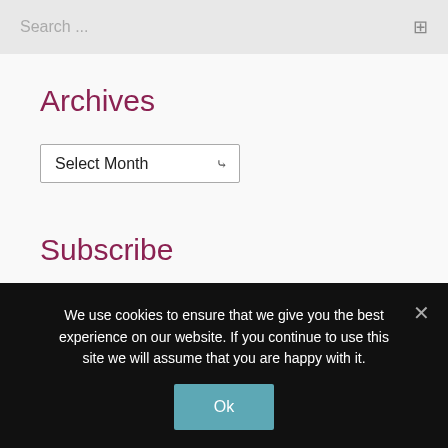Search ...
Archives
[Figure (screenshot): Select Month dropdown widget]
Subscribe
Get weekly updates
We use cookies to ensure that we give you the best experience on our website. If you continue to use this site we will assume that you are happy with it.